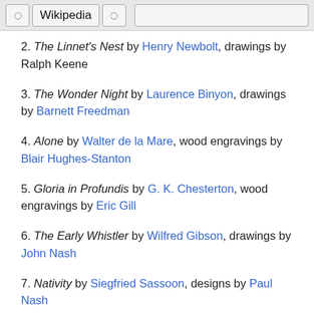Wikipedia
2. The Linnet's Nest by Henry Newbolt, drawings by Ralph Keene
3. The Wonder Night by Laurence Binyon, drawings by Barnett Freedman
4. Alone by Walter de la Mare, wood engravings by Blair Hughes-Stanton
5. Gloria in Profundis by G. K. Chesterton, wood engravings by Eric Gill
6. The Early Whistler by Wilfred Gibson, drawings by John Nash
7. Nativity by Siegfried Sassoon, designs by Paul Nash
8. Journey of the Magi by T. S. Eliot, drawings by E.